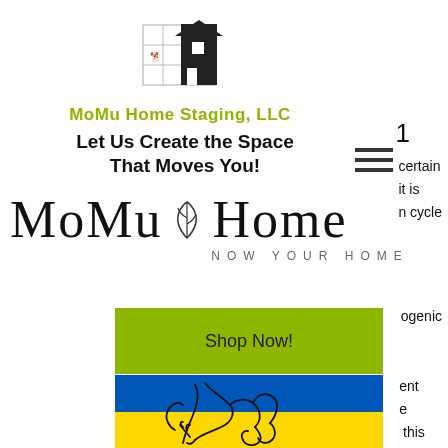[Figure (logo): MoMu Home Staging LLC house/blueprint logo SVG icon]
MoMu Home Staging, LLC
Let Us Create the Space That Moves You!
1
[Figure (illustration): Hamburger menu icon (three horizontal lines)]
certain it is n cycle
[Figure (logo): MoMu Home logo with leaf icon and tagline NOW YOUR HOME]
ogenic
[Figure (illustration): Green Shop Now button]
[Figure (illustration): Blue and yellow illustrated artwork with line-drawing of hands and flowers]
ent e this eeded.